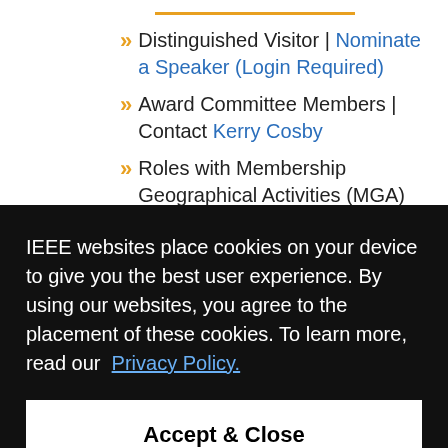Distinguished Visitor | Nominate a Speaker (Login Required)
Award Committee Members | Contact Kerry Cosby
Roles with Membership Geographical Activities (MGA) Board | Start your
IEEE websites place cookies on your device to give you the best user experience. By using our websites, you agree to the placement of these cookies. To learn more, read our Privacy Policy.
Accept & Close
Richard E. Merwin Scholarship